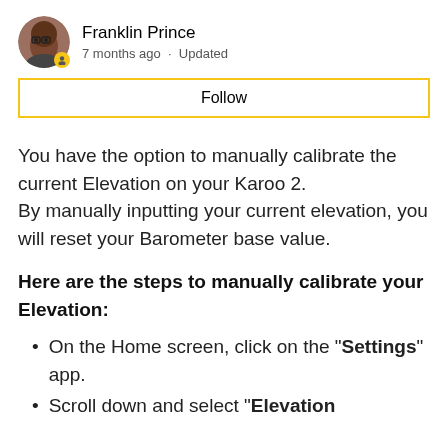[Figure (photo): Avatar photo of Franklin Prince with yellow badge icon]
Franklin Prince
7 months ago · Updated
Follow
You have the option to manually calibrate the current Elevation on your Karoo 2.
By manually inputting your current elevation, you will reset your Barometer base value.
Here are the steps to manually calibrate your Elevation:
On the Home screen, click on the "Settings" app.
Scroll down and select "Elevation Calibration"